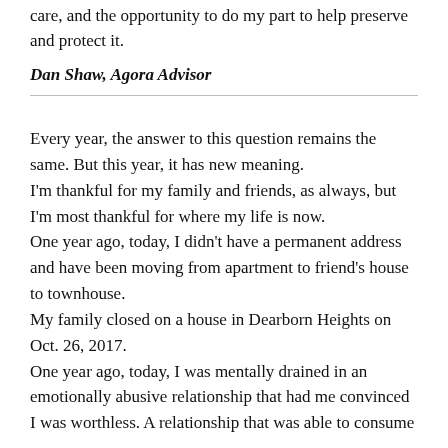care, and the opportunity to do my part to help preserve and protect it.
Dan Shaw, Agora Advisor
Every year, the answer to this question remains the same. But this year, it has new meaning.
I'm thankful for my family and friends, as always, but I'm most thankful for where my life is now.
One year ago, today, I didn't have a permanent address and have been moving from apartment to friend's house to townhouse.
My family closed on a house in Dearborn Heights on Oct. 26, 2017.
One year ago, today, I was mentally drained in an emotionally abusive relationship that had me convinced I was worthless. A relationship that was able to consume